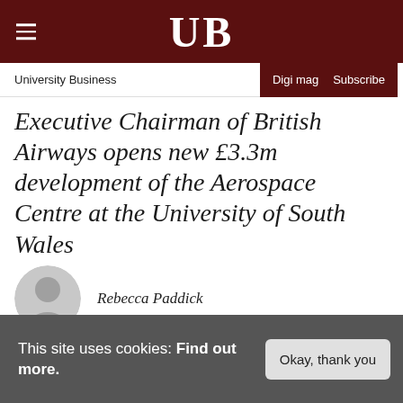UB
University Business | Digi mag | Subscribe
Executive Chairman of British Airways opens new £3.3m development of the Aerospace Centre at the University of South Wales
Rebecca Paddick
This site uses cookies: Find out more.